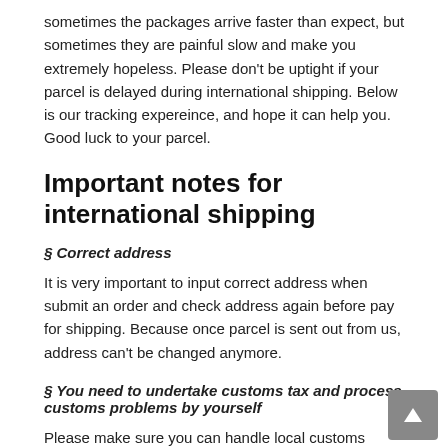sometimes the packages arrive faster than expect, but sometimes they are painful slow and make you extremely hopeless. Please don't be uptight if your parcel is delayed during international shipping. Below is our tracking expereince, and hope it can help you. Good luck to your parcel.
Important notes for international shipping
§ Correct address
It is very important to input correct address when submit an order and check address again before pay for shipping. Because once parcel is sent out from us, address can't be changed anymore.
§ You need to undertake customs tax and process customs problems by yourself
Please make sure you can handle local customs